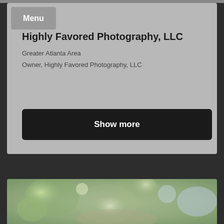Menu
Highly Favored Photography, LLC
Greater Atlanta Area
Owner, Highly Favored Photography, LLC
Show more
[Figure (photo): Blurred outdoor photo showing greenery and bokeh light effects, partially visible at bottom of page]